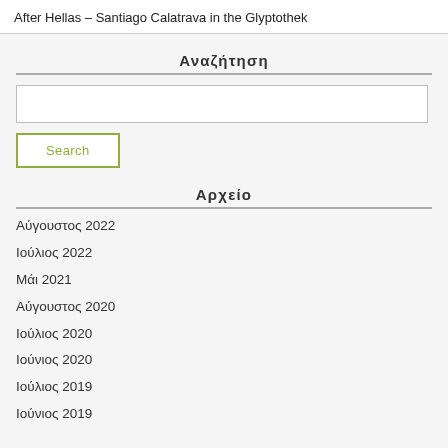After Hellas – Santiago Calatrava in the Glyptothek
Αναζήτηση
Search input box
Search
Αρχείο
Αύγουστος 2022
Ιούλιος 2022
Μάι 2021
Αύγουστος 2020
Ιούλιος 2020
Ιούνιος 2020
Ιούλιος 2019
Ιούνιος 2019